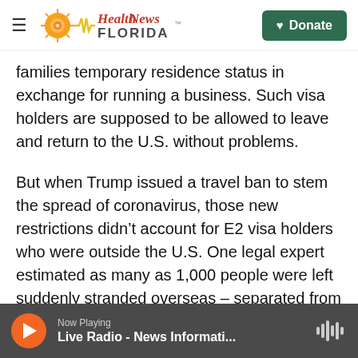Health News Florida — Donate
families temporary residence status in exchange for running a business. Such visa holders are supposed to be allowed to leave and return to the U.S. without problems.
But when Trump issued a travel ban to stem the spread of coronavirus, those new restrictions didn't account for E2 visa holders who were outside the U.S. One legal expert estimated as many as 1,000 people were left suddenly stranded overseas – separated from their families and the businesses the U.S. government was encouraging them to operate.
Now Playing — Live Radio - News Informati...